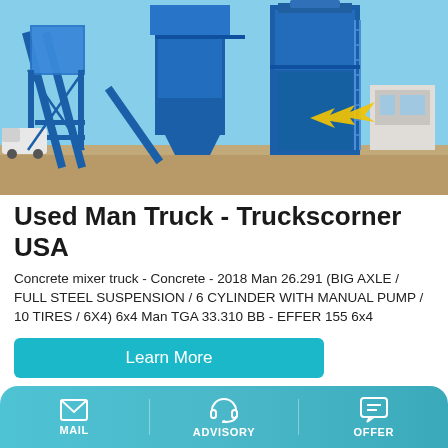[Figure (photo): Large blue industrial asphalt/concrete mixing plant with conveyor belts and silos, shot outdoors under a clear blue sky. A white truck is visible on the left side. A yellow arrow points to a component in the center of the plant.]
Used Man Truck - Truckscorner USA
Concrete mixer truck - Concrete - 2018 Man 26.291 (BIG AXLE / FULL STEEL SUSPENSION / 6 CYLINDER WITH MANUAL PUMP / 10 TIRES / 6X4) 6x4 Man TGA 33.310 BB - EFFER 155 6x4
Learn More
MAIL   ADVISORY   OFFER